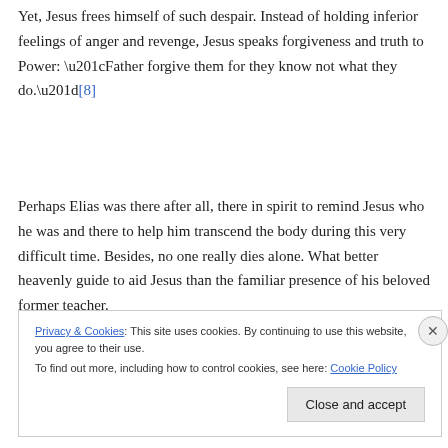Yet, Jesus frees himself of such despair. Instead of holding inferior feelings of anger and revenge, Jesus speaks forgiveness and truth to Power: “Father forgive them for they know not what they do.”[8]
Perhaps Elias was there after all, there in spirit to remind Jesus who he was and there to help him transcend the body during this very difficult time. Besides, no one really dies alone. What better heavenly guide to aid Jesus than the familiar presence of his beloved former teacher.
Privacy & Cookies: This site uses cookies. By continuing to use this website, you agree to their use.
To find out more, including how to control cookies, see here: Cookie Policy